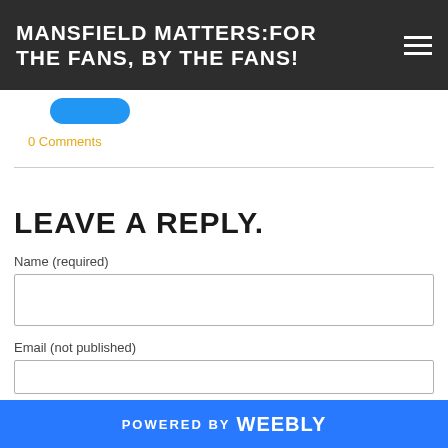MANSFIELD MATTERS:FOR THE FANS, BY THE FANS!
0 Comments
LEAVE A REPLY.
Name (required)
Email (not published)
POWERED BY weebly